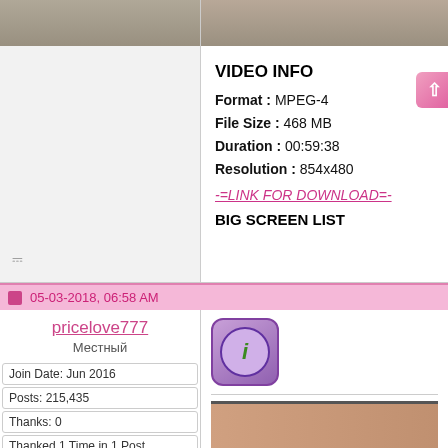VIDEO INFO
Format : MPEG-4
File Size : 468 MB
Duration : 00:59:38
Resolution : 854x480
-=LINK FOR DOWNLOAD=-
BIG SCREEN LIST
05-03-2018, 06:58 AM
pricelove777
Местный
Join Date: Jun 2016
Posts: 215,435
Thanks: 0
Thanked 1 Time in 1 Post
[Figure (screenshot): Info icon - purple rounded square with info symbol]
[Figure (photo): Thumbnail image strip at bottom of content panel]